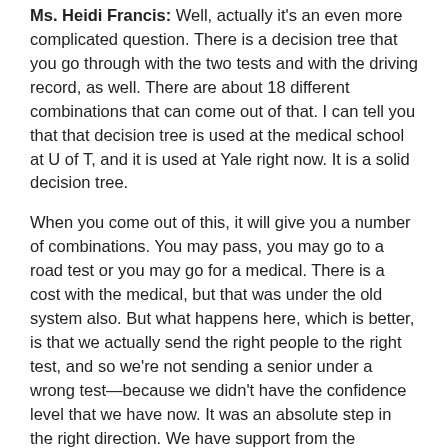Ms. Heidi Francis: Well, actually it's an even more complicated question. There is a decision tree that you go through with the two tests and with the driving record, as well. There are about 18 different combinations that can come out of that. I can tell you that that decision tree is used at the medical school at U of T, and it is used at Yale right now. It is a solid decision tree.
When you come out of this, it will give you a number of combinations. You may pass, you may go to a road test or you may go for a medical. There is a cost with the medical, but that was under the old system also. But what happens here, which is better, is that we actually send the right people to the right test, and so we're not sending a senior under a wrong test—because we didn't have the confidence level that we have now. It was an absolute step in the right direction. We have support from the stakeholders.
Mr. Randy Hillier: I would challenge you on that. I had one